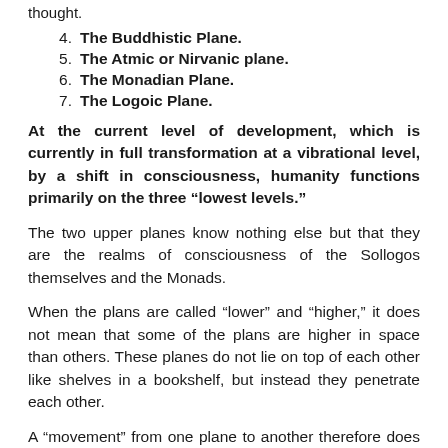thought.
4.  The Buddhistic Plane.
5.  The Atmic or Nirvanic plane.
6.  The Monadian Plane.
7.  The Logoic Plane.
At the current level of development, which is currently in full transformation at a vibrational level, by a shift in consciousness, humanity functions primarily on the three “lowest levels.”
The two upper planes know nothing else but that they are the realms of consciousness of the Sollogos themselves and the Monads.
When the plans are called “lower” and “higher,” it does not mean that some of the plans are higher in space than others. These planes do not lie on top of each other like shelves in a bookshelf, but instead they penetrate each other.
A “movement” from one plane to another therefore does not have to cause a movement in space but is solely due to a change in consciousness.
In this way, in the course of evolution, man becomes able to